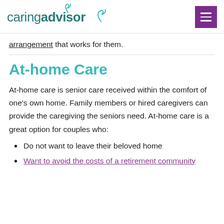caringadvisor
arrangement that works for them.
At-home Care
At-home care is senior care received within the comfort of one's own home. Family members or hired caregivers can provide the caregiving the seniors need. At-home care is a great option for couples who:
Do not want to leave their beloved home
Want to avoid the costs of a retirement community